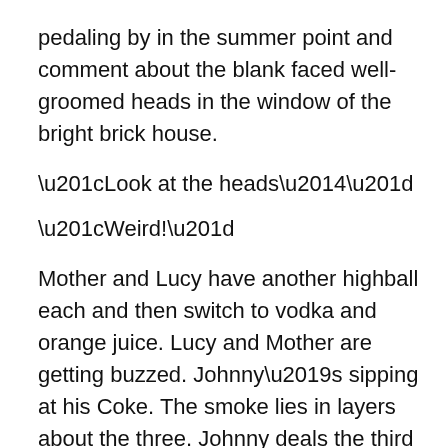pedaling by in the summer point and comment about the blank faced well-groomed heads in the window of the bright brick house.
“Look at the heads—”
“Weird!”
Mother and Lucy have another highball each and then switch to vodka and orange juice. Lucy and Mother are getting buzzed. Johnny’s sipping at his Coke. The smoke lies in layers about the three. Johnny deals the third hand, which Lucy wins. As a part time job, Lucy does the hair of corpses down at Bronson’s Funeral Home. It pays enough money to keep her in liquor. She gets the brandy. They are drunk now. Butts litter the ashtray and some of the butts spilled off onto the tabletop. Mother deals the next hand,